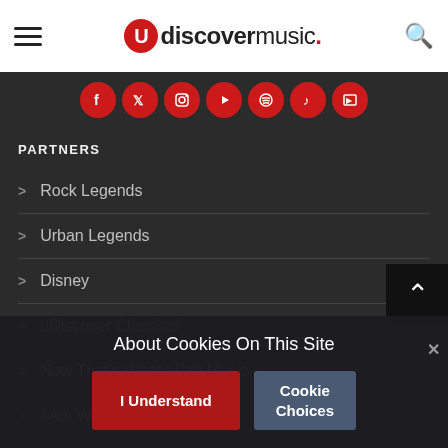uDiscoverMusic navigation header with hamburger menu and search icon
[Figure (illustration): Social media icons row: Facebook, Twitter, Instagram, YouTube, Spotify, Apple Music, and another icon — all circular red buttons on dark background]
PARTNERS
> Rock Legends
> Urban Legends
> Disney
> uDiscover Classical
> Now That's What I Call Music
> I Am Woman
About Cookies On This Site
I Understand | Cookie Choices